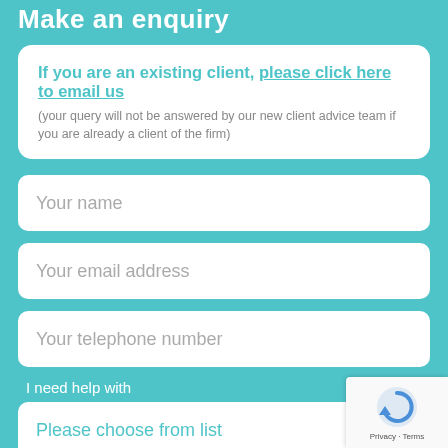Make an enquiry
If you are an existing client, please click here to email us (your query will not be answered by our new client advice team if you are already a client of the firm)
Your name
Your email address
Your telephone number
I need help with
Please choose from list